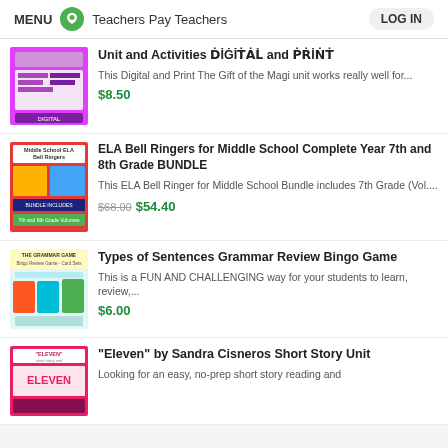MENU  Teachers Pay Teachers  LOG IN
Unit and Activities DIGITAL and PRINT
This Digital and Print The Gift of the Magi unit works really well for...
$8.50
ELA Bell Ringers for Middle School Complete Year 7th and 8th Grade BUNDLE
This ELA Bell Ringer for Middle School Bundle includes 7th Grade (Vol....
$68.00  $54.40
Types of Sentences Grammar Review Bingo Game
This is a FUN AND CHALLENGING way for your students to learn, review,...
$6.00
"Eleven" by Sandra Cisneros Short Story Unit
Looking for an easy, no-prep short story reading and...